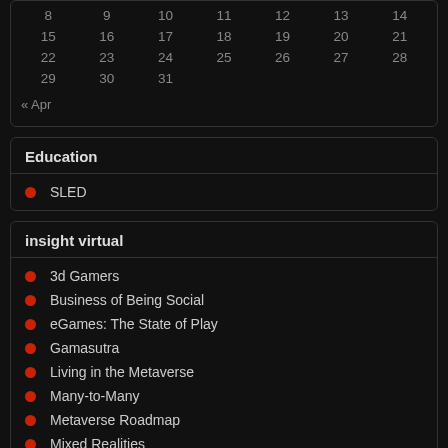| 8 | 9 | 10 | 11 | 12 | 13 | 14 |
| 15 | 16 | 17 | 18 | 19 | 20 | 21 |
| 22 | 23 | 24 | 25 | 26 | 27 | 28 |
| 29 | 30 | 31 |  |  |  |  |
« Apr
Education
SLED
insight virtual
3d Gamers
Business of Being Social
eGames: The State of Play
Gamasutra
Living in the Metaverse
Many-to-Many
Metaverse Roadmap
Mixed Realities
nexeus fatale